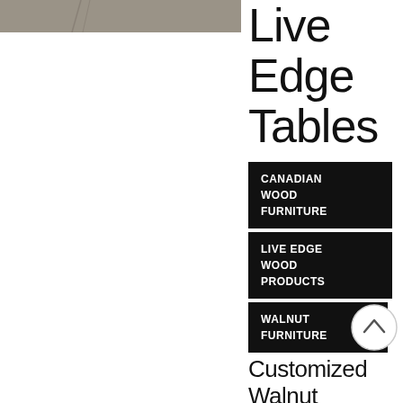[Figure (photo): Partial photo of a live edge wood table, cropped at top of page]
Live Edge Tables
CANADIAN WOOD FURNITURE
LIVE EDGE WOOD PRODUCTS
WALNUT FURNITURE
Customized Walnut Live Edge Tables
Our customized